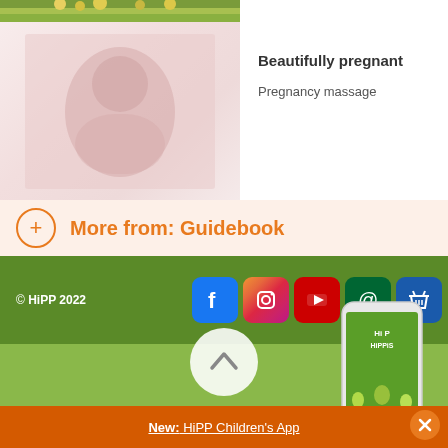[Figure (photo): Partial top photo showing flowers/nature scene (cropped)]
[Figure (photo): Faded/washed out pregnancy photo on left side]
Beautifully pregnant
Pregnancy massage
+ More from: Guidebook
© HiPP 2022
[Figure (infographic): Social media icons: Facebook, Instagram, YouTube, Email (@), Shopping basket]
[Figure (photo): Smartphone showing HiPP HiPPiS app screen]
[Figure (infographic): Up/back arrow circular button]
New: HiPP Children's App